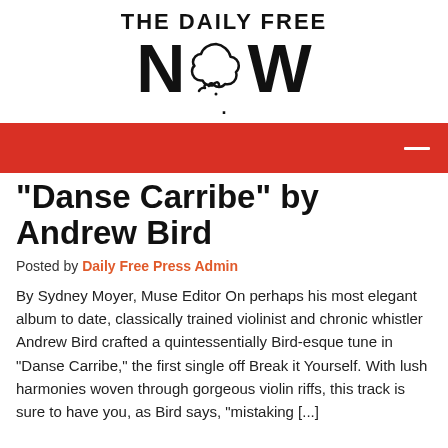[Figure (logo): The Daily Free Now logo with stylized NOW text where the O is a cloud/thought bubble shape]
“Danse Carribe” by Andrew Bird
Posted by Daily Free Press Admin
By Sydney Moyer, Muse Editor On perhaps his most elegant album to date, classically trained violinist and chronic whistler Andrew Bird crafted a quintessentially Bird-esque tune in “Danse Carribe,” the first single off Break it Yourself. With lush harmonies woven through gorgeous violin riffs, this track is sure to have you, as Bird says, “mistaking [...]